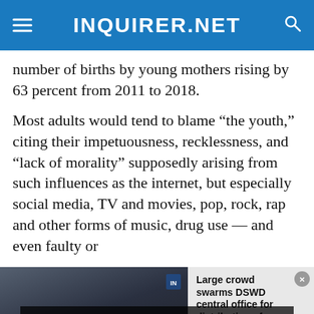INQUIRER.NET
number of births by young mothers rising by 63 percent from 2011 to 2018.
Most adults would tend to blame “the youth,” citing their impetuousness, recklessness, and “lack of morality” supposedly arising from such influences as the internet, but especially social media, TV and movies, pop, rock, rap and other forms of music, drug use — and even faulty or
[Figure (screenshot): Video player overlay showing media load error message over a crowd scene image. Overlay text: 'The media could not be loaded, either because the server or network failed or because the format is not supported.' Right side shows article thumbnail with headline 'Large crowd swarms DSWD central office for distribution of educational aid'. Orange chat button visible at bottom right. Close X button at bottom center.]